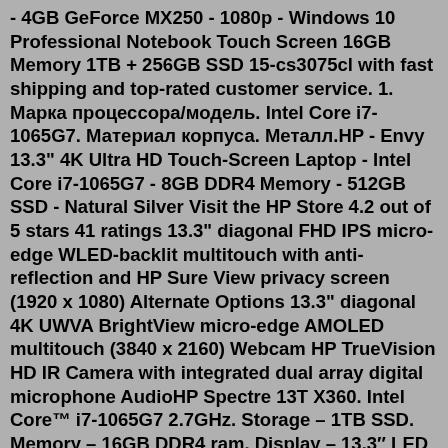- 4GB GeForce MX250 - 1080p - Windows 10 Professional Notebook Touch Screen 16GB Memory 1TB + 256GB SSD 15-cs3075cl with fast shipping and top-rated customer service. 1. Марка процессора/модель. Intel Core i7-1065G7. Материал корпуса. Металл.HP - Envy 13.3" 4K Ultra HD Touch-Screen Laptop - Intel Core i7-1065G7 - 8GB DDR4 Memory - 512GB SSD - Natural Silver Visit the HP Store 4.2 out of 5 stars 41 ratings 13.3" diagonal FHD IPS micro-edge WLED-backlit multitouch with anti-reflection and HP Sure View privacy screen (1920 x 1080) Alternate Options 13.3" diagonal 4K UWVA BrightView micro-edge AMOLED multitouch (3840 x 2160) Webcam HP TrueVision HD IR Camera with integrated dual array digital microphone AudioHP Spectre 13T X360. Intel Core™ i7-1065G7 2.7GHz. Storage – 1TB SSD. Memory – 16GB DDR4 ram. Display – 13.3″ LED FHD Touchscreen. Operating System – Windows 10. KShs 230,000 KShs 169,999. Wishlist. Availability: Out of stock. Intel Core i7 1065G7. Intel Core i5 1135G7. We compared two 4-